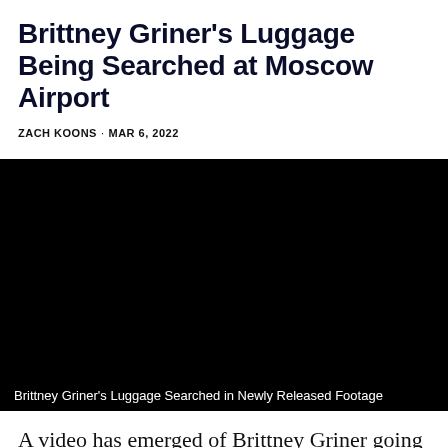Brittney Griner's Luggage Being Searched at Moscow Airport
ZACH KOONS · MAR 6, 2022
[Figure (photo): Black video frame showing Brittney Griner's luggage being searched at Moscow airport. Caption overlay reads: Brittney Griner's Luggage Searched in Newly Released Footage]
Brittney Griner's Luggage Searched in Newly Released Footage
A video has emerged of Brittney Griner going